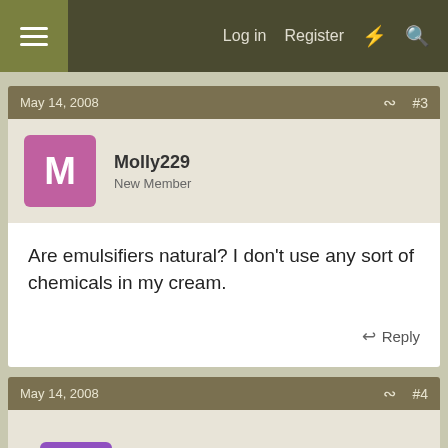Log in  Register
May 14, 2008  #3
Molly229
New Member
Are emulsifiers natural? I don't use any sort of chemicals in my cream.
Reply
May 14, 2008  #4
IanT
Well-Known Member
yes some emulsifiers are natural; try beeswax or lecithin (maybe soy?)....